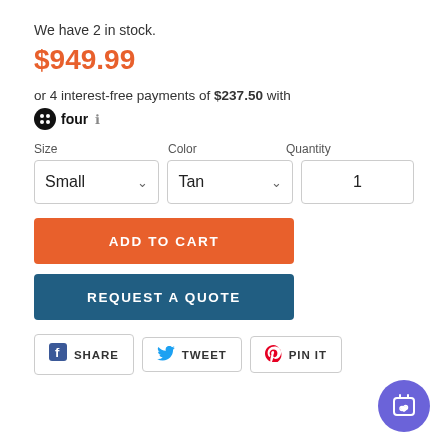We have 2 in stock.
$949.99
or 4 interest-free payments of $237.50 with four ℹ
Size   Color   Quantity
Small (dropdown)   Tan (dropdown)   1 (qty)
ADD TO CART
REQUEST A QUOTE
SHARE   TWEET   PIN IT